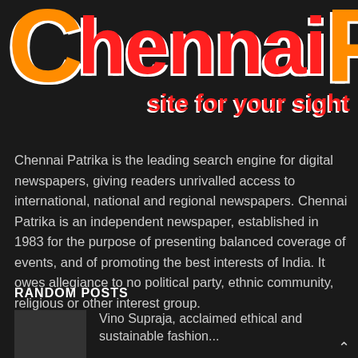[Figure (logo): Chennai Patrika logo with large stylized text in orange and red with white shadow on dark background, and tagline 'site for your sight']
Chennai Patrika is the leading search engine for digital newspapers, giving readers unrivalled access to international, national and regional newspapers. Chennai Patrika is an independent newspaper, established in 1983 for the purpose of presenting balanced coverage of events, and of promoting the best interests of India. It owes allegiance to no political party, ethnic community, religious or other interest group.
RANDOM POSTS
Vino Supraja, acclaimed ethical and sustainable fashion...